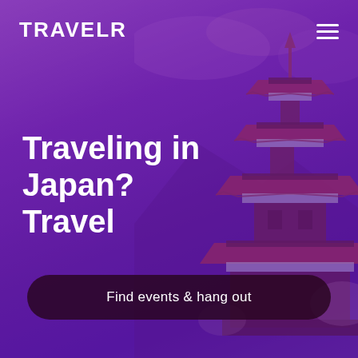[Figure (illustration): Purple-toned background with a Japanese pagoda on the right side and dramatic cloudy sky, all overlaid with a purple gradient tint]
TRAVELR
Traveling in Japan? Travel
Find events & hang out